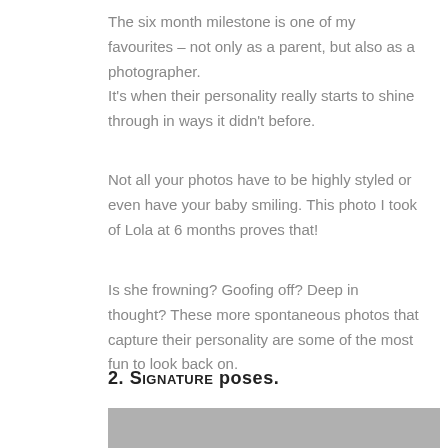The six month milestone is one of my favourites – not only as a parent, but also as a photographer.
It's when their personality really starts to shine through in ways it didn't before.
Not all your photos have to be highly styled or even have your baby smiling. This photo I took of Lola at 6 months proves that!
Is she frowning? Goofing off? Deep in thought? These more spontaneous photos that capture their personality are some of the most fun to look back on.
2. Signature poses.
[Figure (photo): Partially visible grey/placeholder image area at bottom of page]